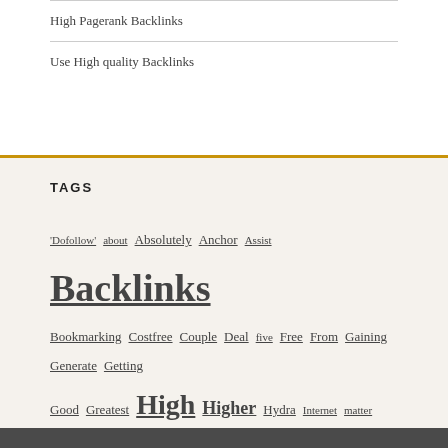High Pagerank Backlinks
Use High quality Backlinks
TAGS
'Dofollow' about Absolutely Anchor Assist Backlinks Bookmarking Costfree Couple Deal five Free From Gaining Generate Getting Good Greatest High Higher Hydra Internet matter more Only